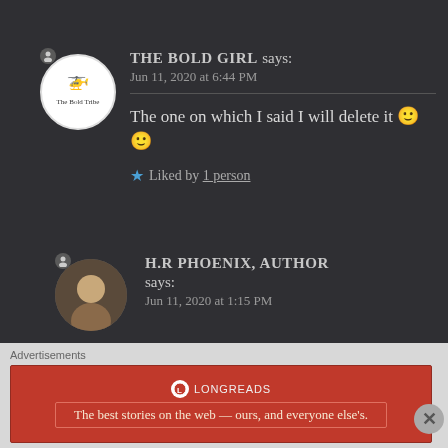THE BOLD GIRL says: Jun 11, 2020 at 6:44 PM
The one on which I said I will delete it 🙂🙂
★ Liked by 1 person
H.R PHOENIX, AUTHOR says: Jun 11, 2020 at 1:15 PM
Advertisements
[Figure (other): Longreads advertisement banner: red background with Longreads logo and tagline 'The best stories on the web — ours, and everyone else's.']